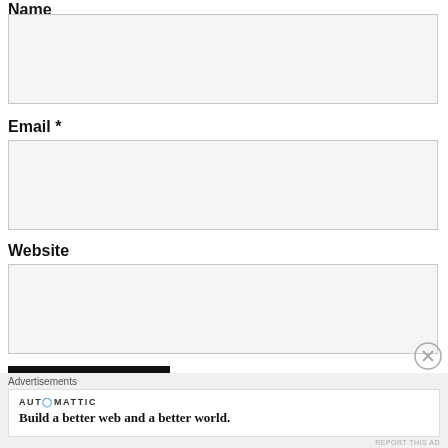Name
[Figure (screenshot): Empty text input box for Name field]
Email *
[Figure (screenshot): Empty text input box for Email field]
Website
[Figure (screenshot): Empty text input box for Website field]
POST COMMENT
Notify me of new comments via email
Advertisements
AUTOMATTIC
Build a better web and a better world.
REPORT THIS AD